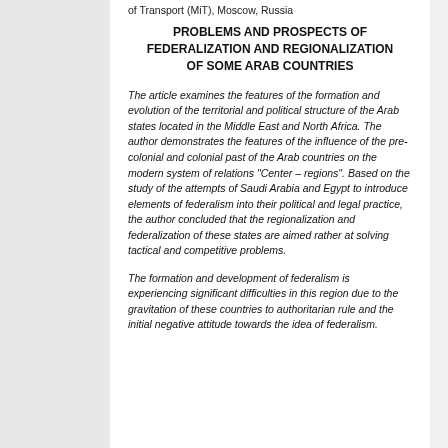of Transport (MiT), Moscow, Russia
PROBLEMS AND PROSPECTS OF FEDERALIZATION AND REGIONALIZATION OF SOME ARAB COUNTRIES
The article examines the features of the formation and evolution of the territorial and political structure of the Arab states located in the Middle East and North Africa. The author demonstrates the features of the influence of the pre-colonial and colonial past of the Arab countries on the modern system of relations "Center – regions". Based on the study of the attempts of Saudi Arabia and Egypt to introduce elements of federalism into their political and legal practice, the author concluded that the regionalization and federalization of these states are aimed rather at solving tactical and competitive problems.
The formation and development of federalism is experiencing significant difficulties in this region due to the gravitation of these countries to authoritarian rule and the initial negative attitude towards the idea of federalism.